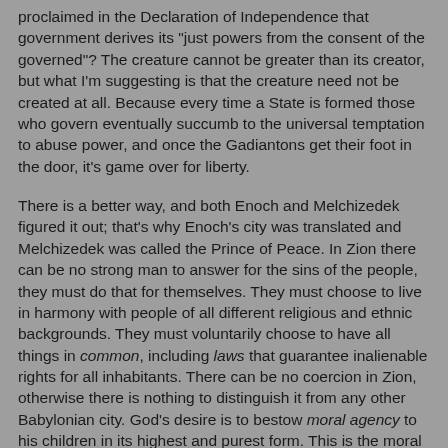proclaimed in the Declaration of Independence that government derives its "just powers from the consent of the governed"? The creature cannot be greater than its creator, but what I'm suggesting is that the creature need not be created at all. Because every time a State is formed those who govern eventually succumb to the universal temptation to abuse power, and once the Gadiantons get their foot in the door, it's game over for liberty.

There is a better way, and both Enoch and Melchizedek figured it out; that's why Enoch's city was translated and Melchizedek was called the Prince of Peace. In Zion there can be no strong man to answer for the sins of the people, they must do that for themselves. They must choose to live in harmony with people of all different religious and ethnic backgrounds. They must voluntarily choose to have all things in common, including laws that guarantee inalienable rights for all inhabitants. There can be no coercion in Zion, otherwise there is nothing to distinguish it from any other Babylonian city. God's desire is to bestow moral agency to his children in its highest and purest form. This is the moral high ground that must exist in a city of God.